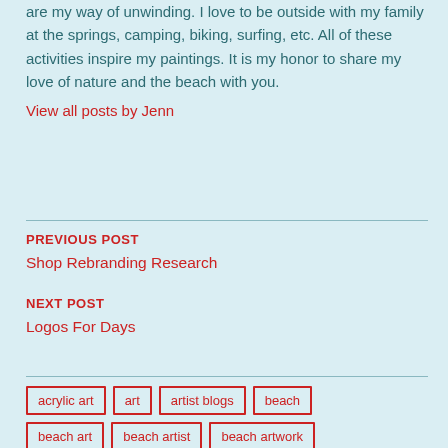are my way of unwinding. I love to be outside with my family at the springs, camping, biking, surfing, etc. All of these activities inspire my paintings. It is my honor to share my love of nature and the beach with you.
View all posts by Jenn
PREVIOUS POST
Shop Rebranding Research
NEXT POST
Logos For Days
acrylic art
art
artist blogs
beach
beach art
beach artist
beach artwork